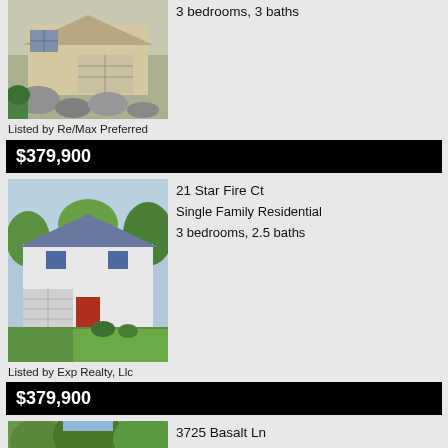[Figure (photo): Exterior photo of a house with stone landscaping and garage, partial view at top of page]
3 bedrooms, 3 baths
Listed by Re/Max Preferred
$379,900
[Figure (photo): Exterior photo of a white two-story single family home with garage and green landscaping]
21 Star Fire Ct
Single Family Residential
3 bedrooms, 2.5 baths
Listed by Exp Realty, Llc
$379,900
[Figure (photo): Partial exterior photo of a house with trees, bottom of page]
3725 Basalt Ln